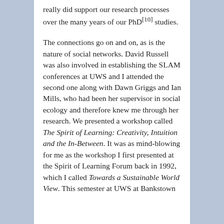really did support our research processes over the many years of our PhD[10] studies.
The connections go on and on, as is the nature of social networks. David Russell was also involved in establishing the SLAM conferences at UWS and I attended the second one along with Dawn Griggs and Ian Mills, who had been her supervisor in social ecology and therefore knew me through her research. We presented a workshop called The Spirit of Learning: Creativity, Intuition and the In-Between. It was as mind-blowing for me as the workshop I first presented at the Spirit of Learning Forum back in 1992, which I called Towards a Sustainable World View. This semester at UWS at Bankstown